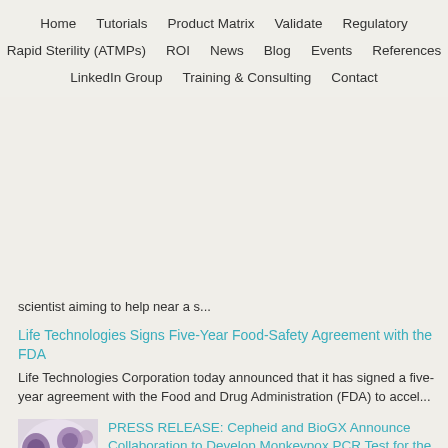Home   Tutorials   Product Matrix   Validate   Regulatory   Rapid Sterility (ATMPs)   ROI   News   Blog   Events   References   LinkedIn Group   Training & Consulting   Contact
scientist aiming to help near a s...
Life Technologies Signs Five-Year Food-Safety Agreement with the FDA
Life Technologies Corporation today announced that it has signed a five-year agreement with the Food and Drug Administration (FDA) to accel...
[Figure (photo): Microscopy image showing monkeypox cells, with purple and blue circular cells on a light background]
PRESS RELEASE: Cepheid and BioGX Announce Collaboration to Develop Monkeypox PCR Test for the GeneXpert® System
Cepheid and BioGX announced a collaboration between the two companies to deliver a PCR test for Monkeypox that will run on the GeneXpert sys...
Rapid Diagnosis of Pneumonia Vital for Best Possible Outcome
Researchers at NUI Galway are involved in a new European project